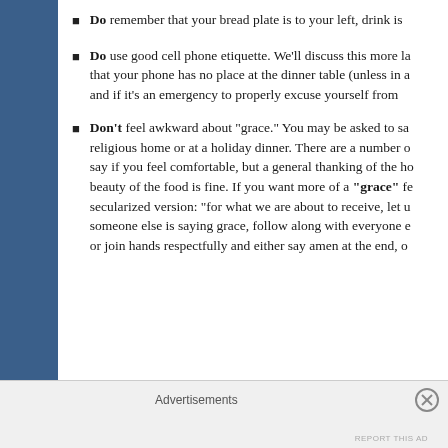Do remember that your bread plate is to your left, drink is
Do use good cell phone etiquette. We'll discuss this more la that your phone has no place at the dinner table (unless in a and if it's an emergency to properly excuse yourself from
Don't feel awkward about "grace." You may be asked to sa religious home or at a holiday dinner. There are a number o say if you feel comfortable, but a general thanking of the ho beauty of the food is fine. If you want more of a "grace" fe secularized version: "for what we are about to receive, let u someone else is saying grace, follow along with everyone e or join hands respectfully and either say amen at the end, o
Advertisements